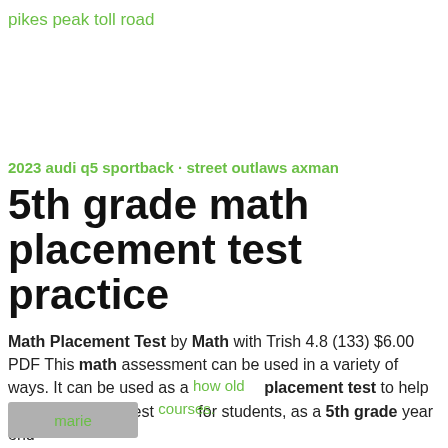pikes peak toll road
2023 audi q5 sportback · street outlaws axman
5th grade math placement test practice
Math Placement Test by Math with Trish 4.8 (133) $6.00 PDF This math assessment can be used in a variety of ways. It can be used as a placement test to help recommend the best courses for students, as a 5th grade year end
marie